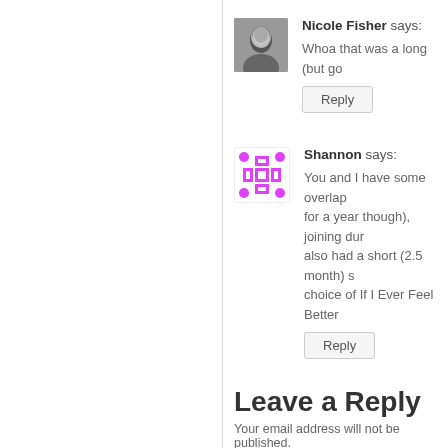Nicole Fisher says:
Whoa that was a long (but go
Reply
Shannon says:
You and I have some overlap for a year though), joining dur also had a short (2.5 month) s choice of If I Ever Feel Better
Reply
Leave a Reply
Your email address will not be published.
Comment *